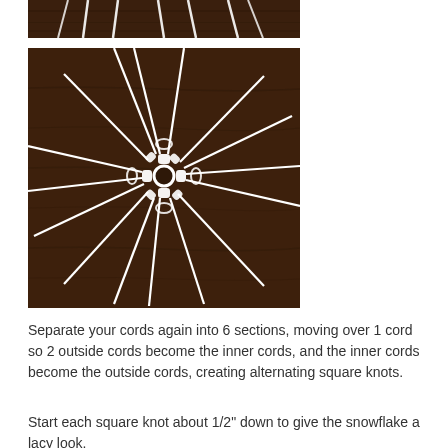[Figure (photo): Partial top view of macrame cord work on dark wood surface, showing cords radiating outward]
[Figure (photo): Macrame snowflake in progress on dark wood surface, showing white cords arranged in a radial pattern with a knotted center forming a circular motif]
Separate your cords again into 6 sections, moving over 1 cord so 2 outside cords become the inner cords, and the inner cords become the outside cords, creating alternating square knots.
Start each square knot about 1/2” down to give the snowflake a lacy look.